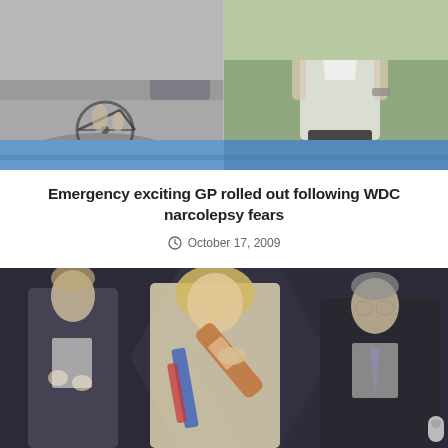[Figure (photo): Two sports photos side by side: left shows a cyclist on a road bike (asphalt, shadows), right shows a runner in a white triathlon suit on grass. Bottom strip shows blue water/pool area.]
Emergency exciting GP rolled out following WDC narcolepsy fears
October 17, 2009
[Figure (photo): Ceremonial photo with three people: a man on the left clapping, a blonde woman in the center drinking from a trophy bottle wearing a sash, and a man in a dark suit on the right. Dark background.]